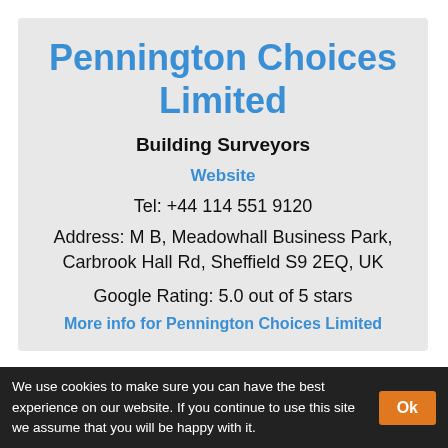Pennington Choices Limited
Building Surveyors
Website
Tel: +44 114 551 9120
Address: M B, Meadowhall Business Park, Carbrook Hall Rd, Sheffield S9 2EQ, UK
Google Rating: 5.0 out of 5 stars
More info for Pennington Choices Limited
We use cookies to make sure you can have the best experience on our website. If you continue to use this site we assume that you will be happy with it.